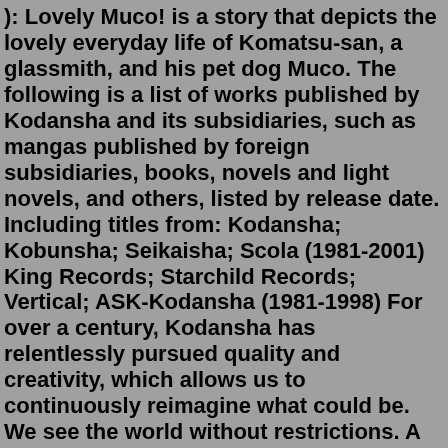): Lovely Muco! is a story that depicts the lovely everyday life of Komatsu-san, a glassmith, and his pet dog Muco. The following is a list of works published by Kodansha and its subsidiaries, such as mangas published by foreign subsidiaries, books, novels and light novels, and others, listed by release date. Including titles from: Kodansha; Kobunsha; Seikaisha; Scola (1981-2001) King Records; Starchild Records; Vertical; ASK-Kodansha (1981-1998) For over a century, Kodansha has relentlessly pursued quality and creativity, which allows us to continuously reimagine what could be. We see the world without restrictions. A place of diverse passions, profound perspectives and limitless potential. Filled with curious minds and unexpected voices. Kodansha Box (講談社BOX, Kōdansha BOX) is the name of a book label published since November 2006 and a division of the major Japanese publishing house, Kodansha. The label published not only novels but also manga and critical review books, advocating a "hybrid label." The label was originally characterized by its silver